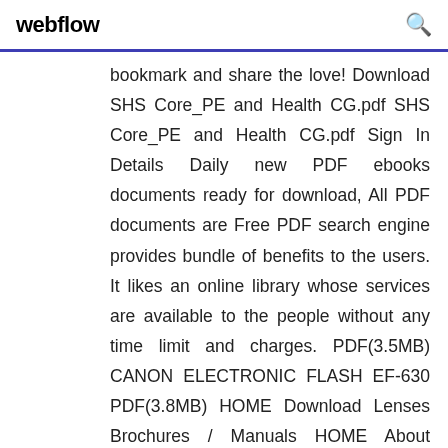webflow
bookmark and share the love! Download SHS Core_PE and Health CG.pdf SHS Core_PE and Health CG.pdf Sign In Details Daily new PDF ebooks documents ready for download, All PDF documents are Free PDF search engine provides bundle of benefits to the users. It likes an online library whose services are available to the people without any time limit and charges. PDF(3.5MB) CANON ELECTRONIC FLASH EF-630 PDF(3.8MB) HOME Download Lenses Brochures / Manuals HOME About SIGMA Craftsmanship Inside story Core technology Archive Corporate information News World network Cameras sd Quattro Concept Changes from